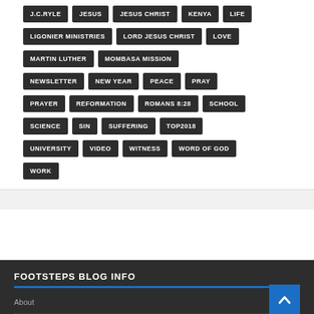J.C.RYLE
JESUS
JESUS CHRIST
KENYA
LIFE
LIGONIER MINISTRIES
LORD JESUS CHRIST
LOVE
MARTIN LUTHER
MOMBASA MISSION
NEWSLETTER
NEW YEAR
PEACE
PRAY
PRAYER
REFORMATION
ROMANS 8:28
SCHOOL
SCIENCE
SIN
SUFFERING
TOP2018
UNIVERSITY
VIDEO
WITNESS
WORD OF GOD
WORK
FOOTSTEPS BLOG INFO
About